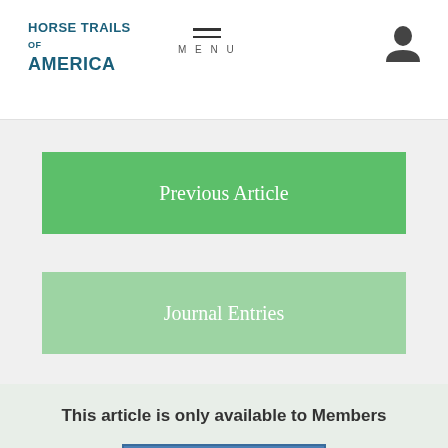Horse Trails of America
Previous Article
Journal Entries
This article is only available to Members
JOIN / LOGIN